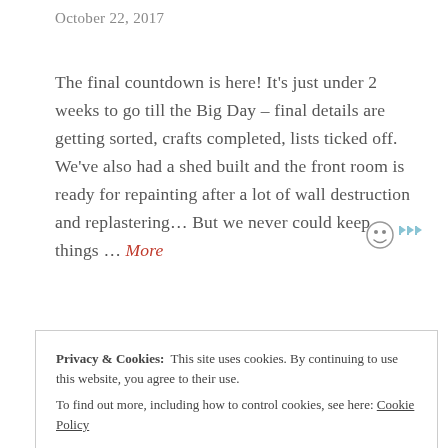October 22, 2017
The final countdown is here! It's just under 2 weeks to go till the Big Day – final details are getting sorted, crafts completed, lists ticked off. We've also had a shed built and the front room is ready for repainting after a lot of wall destruction and replastering... But we never could keep things … More
Privacy & Cookies:  This site uses cookies. By continuing to use this website, you agree to their use.
To find out more, including how to control cookies, see here: Cookie Policy
July 10, 2017